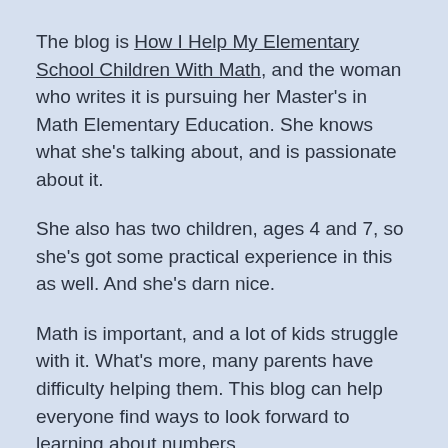The blog is How I Help My Elementary School Children With Math, and the woman who writes it is pursuing her Master's in Math Elementary Education. She knows what she's talking about, and is passionate about it.
She also has two children, ages 4 and 7, so she's got some practical experience in this as well. And she's darn nice.
Math is important, and a lot of kids struggle with it. What's more, many parents have difficulty helping them. This blog can help everyone find ways to look forward to learning about numbers.
As a child, I was lucky. My dad was a math major in college and he also was a good teacher. Yet even I had hard time learning the basics. So I appreciate any tools for this key subject.